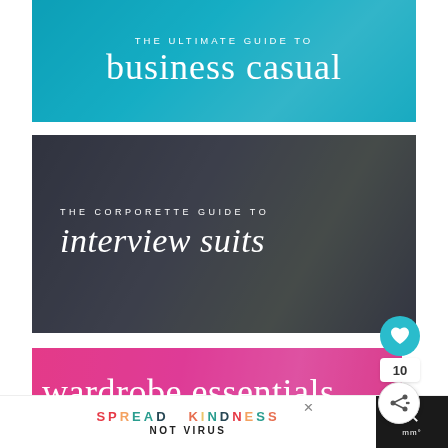[Figure (illustration): Blue banner with text overlay: THE ULTIMATE GUIDE TO business casual]
[Figure (illustration): Dark grayish-green banner with text overlay: THE CORPORETTE GUIDE TO interview suits]
[Figure (illustration): Hot pink banner with white text: wardrobe essentials]
[Figure (illustration): Advertisement bar: SPREAD KINDNESS NOT VIRUS with close button and dark right panel with X]